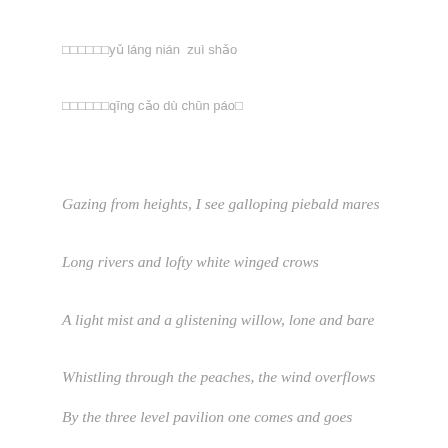yǔ láng nián  zuì shǎo
qīng cǎo dù chūn páo
Gazing from heights, I see galloping piebald mares
Long rivers and lofty white winged crows
A light mist and a glistening willow, lone and bare
Whistling through the peaches, the wind overflows
By the three level pavilion one comes and goes
One strokes the seven jeweled blade